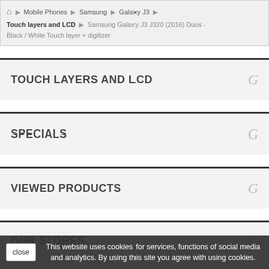Home > Mobile Phones > Samsung > Galaxy J3 > Touch layers and LCD > Samsung Galaxy J3 J320 (2016) Duos - Black / White Touch layer + digitizer
TOUCH LAYERS AND LCD
SPECIALS
VIEWED PRODUCTS
OUR STORES
This website uses cookies for services, functions of social media and analytics. By using this site you agree with using cookies.